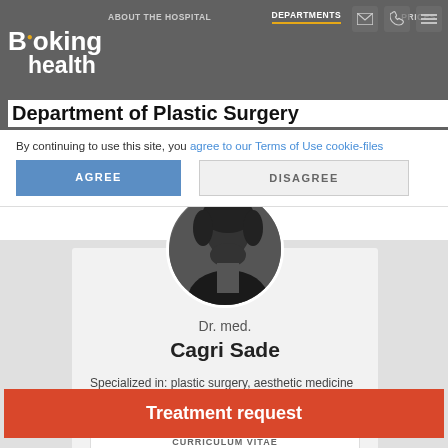ABOUT THE HOSPITAL | DEPARTMENTS | PRICES
[Figure (logo): Booking health logo with orange dot]
Department of Plastic Surgery
By continuing to use this site, you agree to our Terms of Use cookie-files
AGREE
DISAGREE
[Figure (photo): Black and white circular portrait photo of Dr. med. Cagri Sade]
Dr. med.
Cagri Sade
Specialized in: plastic surgery, aesthetic medicine
SPECIALIZATION
CURRICULUM VITAE
Treatment request